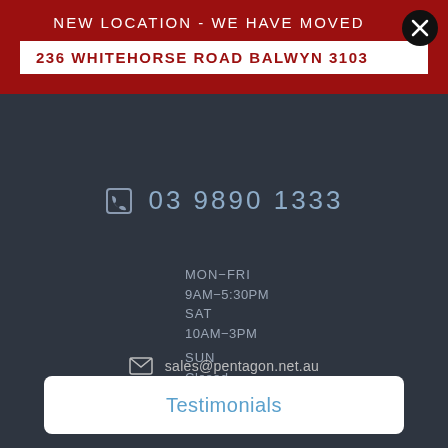NEW LOCATION - WE HAVE MOVED
236 WHITEHORSE ROAD BALWYN 3103
03 9890 1333
MON-FRI
9AM-5:30PM
SAT
10AM-3PM
SUN
Closed
PUBLIC HOLIDAYS
Closed
sales@pentagon.net.au
Testimonials